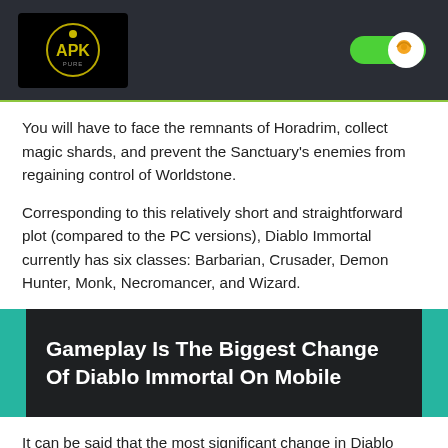APK logo and toggle button header
You will have to face the remnants of Horadrim, collect magic shards, and prevent the Sanctuary’s enemies from regaining control of Worldstone.
Corresponding to this relatively short and straightforward plot (compared to the PC versions), Diablo Immortal currently has six classes: Barbarian, Crusader, Demon Hunter, Monk, Necromancer, and Wizard.
Gameplay Is The Biggest Change Of Diablo Immortal On Mobile
It can be said that the most significant change in Diablo Immortal transformed from the PC version is a new way to play – hacking & splashing, which makes the game genuinely